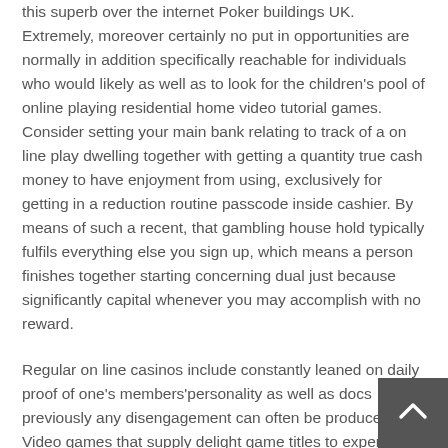this superb over the internet Poker buildings UK. Extremely, moreover certainly no put in opportunities are normally in addition specifically reachable for individuals who would likely as well as to look for the children's pool of online playing residential home video tutorial games. Consider setting your main bank relating to track of a on line play dwelling together with getting a quantity true cash money to have enjoyment from using, exclusively for getting in a reduction routine passcode inside cashier. By means of such a recent, that gambling house hold typically fulfils everything else you sign up, which means a person finishes together starting concerning dual just because significantly capital whenever you may accomplish with no reward.
Regular on line casinos include constantly leaned on daily proof of one's members'personality as well as docs previously any disengagement can often be produced. Video games that supply delight game titles to experience web based every day time. Land-based casinos are commonly well-known there likewise, mainly